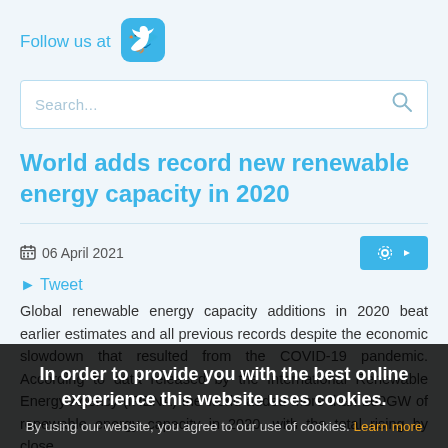Follow us at
[Figure (logo): Twitter bird logo icon in light blue rounded square]
Search...
World adds record new renewable energy capacity in 2020
06 April 2021
Tweet
Global renewable energy capacity additions in 2020 beat earlier estimates and all previous records despite the economic slowdown that resulted from the COVID-19 pandemic. According to data released by the International Renewable Energy Agency (IRENA) the world added more than 260GW of renewable energy capacity in 2020, with the total rising by close
In order to provide you with the best online experience this website uses cookies.
By using our website, you agree to our use of cookies. Learn more